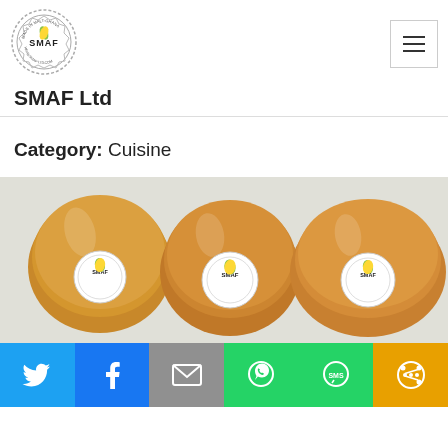[Figure (logo): SMAF Ltd circular logo with flower/leaf design and text 'MADE IN MALT-GHANA' and 'WWW.SMAF-LTD.COM']
SMAF Ltd
Category: Cuisine
[Figure (photo): Three golden-brown bread loaves/food items wrapped in clear plastic, each with a circular SMAF logo sticker, placed on a light surface]
[Figure (infographic): Social sharing bar with icons: Twitter (blue), Facebook (dark blue), Email (gray), WhatsApp (green), SMS (green), More/share (orange)]